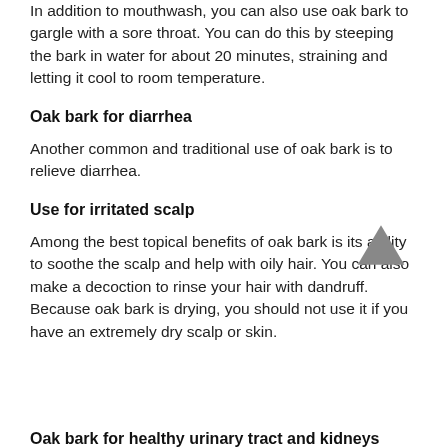In addition to mouthwash, you can also use oak bark to gargle with a sore throat. You can do this by steeping the bark in water for about 20 minutes, straining and letting it cool to room temperature.
Oak bark for diarrhea
Another common and traditional use of oak bark is to relieve diarrhea.
Use for irritated scalp
Among the best topical benefits of oak bark is its ability to soothe the scalp and help with oily hair. You can also make a decoction to rinse your hair with dandruff. Because oak bark is drying, you should not use it if you have an extremely dry scalp or skin.
Oak bark for healthy urinary tract and kidneys